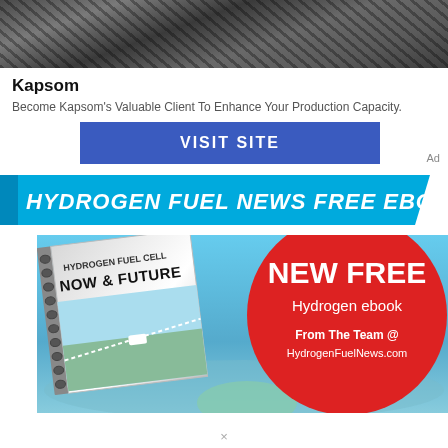[Figure (photo): Dark industrial scene at top of ad block]
Kapsom
Become Kapsom's Valuable Client To Enhance Your Production Capacity.
[Figure (other): VISIT SITE blue button]
Ad
[Figure (other): HYDROGEN FUEL NEWS FREE EBOOK banner header in cyan/blue]
[Figure (illustration): Hydrogen Fuel Cell Now & Future ebook cover with red circle showing NEW FREE Hydrogen ebook From The Team @ HydrogenFuelNews.com]